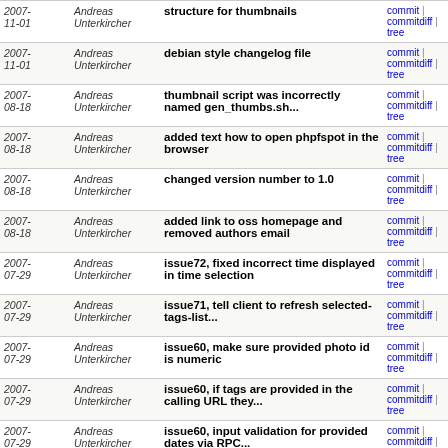| Date | Author | Message | Links |
| --- | --- | --- | --- |
| 2007-11-01 | Andreas Unterkircher | structure for thumbnails | commit | commitdiff | tree |
| 2007-11-01 | Andreas Unterkircher | debian style changelog file | commit | commitdiff | tree |
| 2007-08-18 | Andreas Unterkircher | thumbnail script was incorrectly named gen_thumbs.sh... | commit | commitdiff | tree |
| 2007-08-18 | Andreas Unterkircher | added text how to open phpfspot in the browser | commit | commitdiff | tree |
| 2007-08-18 | Andreas Unterkircher | changed version number to 1.0 | commit | commitdiff | tree |
| 2007-08-18 | Andreas Unterkircher | added link to oss homepage and removed authors email | commit | commitdiff | tree |
| 2007-07-29 | Andreas Unterkircher | issue72, fixed incorrect time displayed in time selection | commit | commitdiff | tree |
| 2007-07-29 | Andreas Unterkircher | issue71, tell client to refresh selected-tags-list... | commit | commitdiff | tree |
| 2007-07-29 | Andreas Unterkircher | issue60, make sure provided photo id is numeric | commit | commitdiff | tree |
| 2007-07-29 | Andreas Unterkircher | issue60, if tags are provided in the calling URL they... | commit | commitdiff | tree |
| 2007-07-29 | Andreas Unterkircher | issue60, input validation for provided dates via RPC... | commit | commitdiff | tree |
| 2007-07-28 | Andreas Unterkircher | blue search-submit buttons | commit | commitdiff | tree |
| 2007-07-28 | Andreas Unterkircher | issue69, fixed calendar matrix always starting with... | commit | commitdiff | tree |
| 2007- | Andreas | issue67, when called from an | commit |